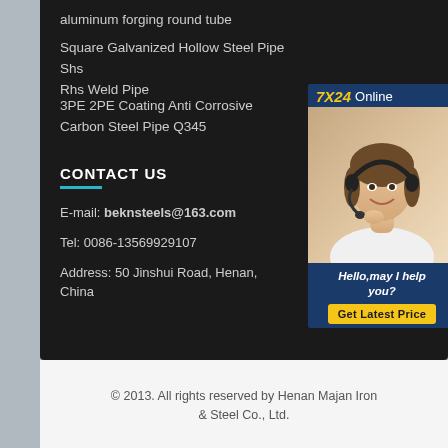aluminum forging round tube
Square Galvanized Hollow Steel Pipe Shs Rhs Weld Pipe
3PE 2PE Coating Anti Corrosive Carbon Steel Pipe Q345
CONTACT US
E-mail: beknsteels@163.com
Tel: 0086-13569929107
Address: 50 Jinshui Road, Henan, China
[Figure (photo): Customer service agent with headset, smiling. 7X24 Online chat widget with 'Hello,may I help you?' and 'Get Latest Price' button.]
© 2013. All rights reserved by Henan Majan Iron & Steel Co., Ltd.